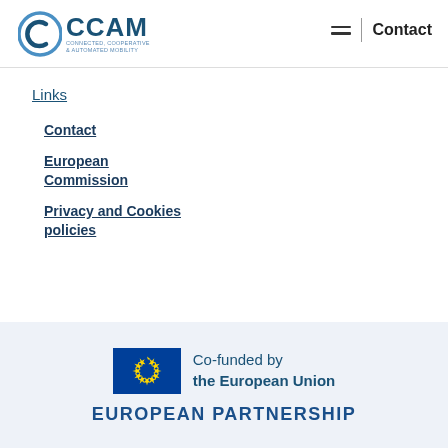[Figure (logo): CCAM logo — Connected, Cooperative & Automated Mobility — blue circular C icon with CCAM text]
Contact
Links
Contact
European Commission
Privacy and Cookies policies
[Figure (logo): EU flag logo with text: Co-funded by the European Union — EUROPEAN PARTNERSHIP]